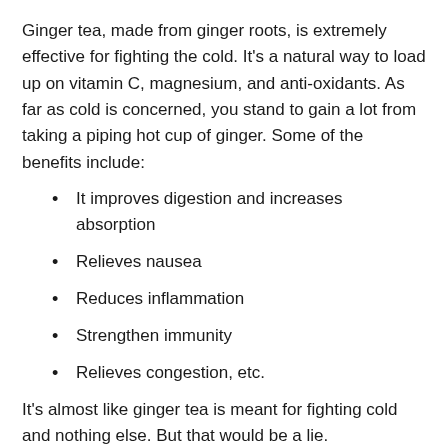Ginger tea, made from ginger roots, is extremely effective for fighting the cold. It's a natural way to load up on vitamin C, magnesium, and anti-oxidants. As far as cold is concerned, you stand to gain a lot from taking a piping hot cup of ginger. Some of the benefits include:
It improves digestion and increases absorption
Relieves nausea
Reduces inflammation
Strengthen immunity
Relieves congestion, etc.
It's almost like ginger tea is meant for fighting cold and nothing else. But that would be a lie.